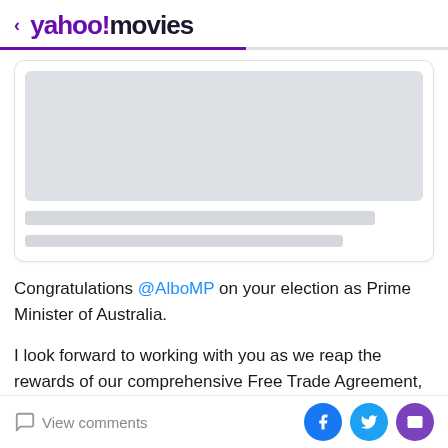< yahoo!movies
[Figure (screenshot): Loading placeholder card with grey image area and two grey text skeleton lines]
Congratulations @AlboMP on your election as Prime Minister of Australia.

I look forward to working with you as we reap the rewards of our comprehensive Free Trade Agreement, the AUKUS partnership and the unmatched closeness
View comments  [Facebook] [Twitter] [Email]